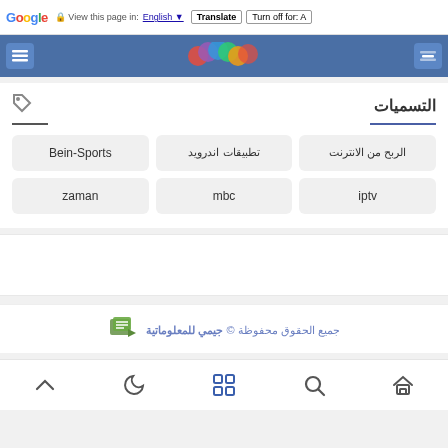Google | View this page in: English | Translate | Turn off for: A
[Figure (screenshot): Top navigation banner with blue background, search icon on left, colorful rings logo in center, menu icon on right]
التسميات
الربح من الانترنت
تطبيقات اندرويد
Bein-Sports
zaman
mbc
iptv
جيمي للمعلوماتية © جميع الحقوق محفوظة